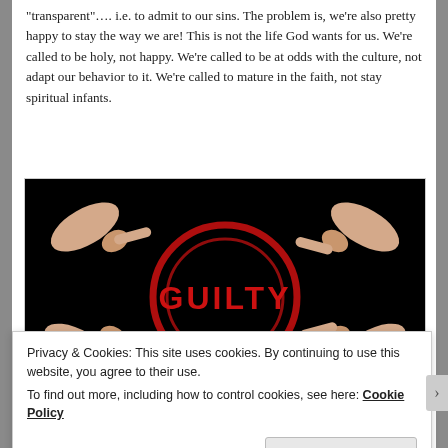“transparent”…. i.e. to admit to our sins.  The problem is, we’re also pretty happy to stay the way we are!  This is not the life God wants for us.  We’re called to be holy, not happy.  We’re called to be at odds with the culture, not adapt our behavior to it.  We’re called to mature in the faith, not stay spiritual infants.
[Figure (photo): Black background image showing four hands pointing inward from four directions toward a red circle stamp with the word GUILTY in red text in the center.]
Privacy & Cookies: This site uses cookies. By continuing to use this website, you agree to their use.
To find out more, including how to control cookies, see here: Cookie Policy